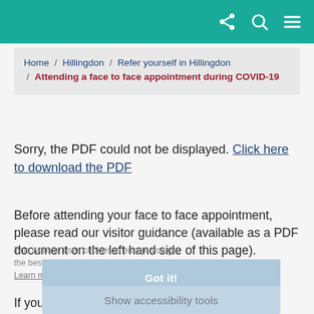Navigation header with icons
Home / Hillingdon / Refer yourself in Hillingdon / Attending a face to face appointment during COVID-19
Sorry, the PDF could not be displayed. Click here to download the PDF
Before attending your face to face appointment, please read our visitor guidance (available as a PDF document on the left hand side of this page).
This website uses cookies to ensure you get the best experience on our website. Learn more
Got it!
Show accessibility tools
If you a guidance